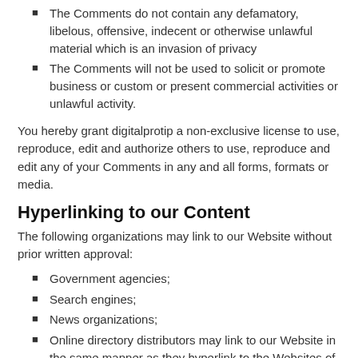The Comments do not contain any defamatory, libelous, offensive, indecent or otherwise unlawful material which is an invasion of privacy
The Comments will not be used to solicit or promote business or custom or present commercial activities or unlawful activity.
You hereby grant digitalprotip a non-exclusive license to use, reproduce, edit and authorize others to use, reproduce and edit any of your Comments in any and all forms, formats or media.
Hyperlinking to our Content
The following organizations may link to our Website without prior written approval:
Government agencies;
Search engines;
News organizations;
Online directory distributors may link to our Website in the same manner as they hyperlink to the Websites of other listed businesses; and